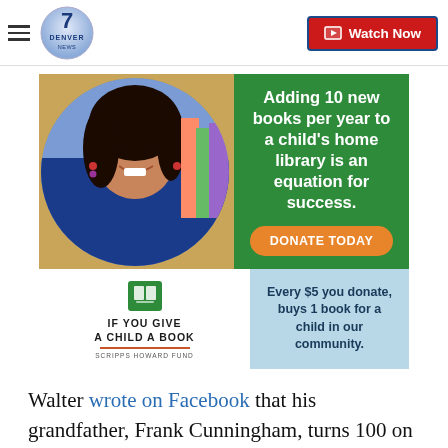Denver 7 — Watch Now
[Figure (illustration): Advertisement for 'If You Give A Child A Book' Scripps Howard Fund. Shows a smiling girl with books, green background with text 'Adding 10 new books per year to a child's home library is an equation for success.' and a DONATE TODAY button. Bottom section: book icon with 'IF YOU GIVE A CHILD A BOOK SCRIPPS HOWARD FUND' and 'Every $5 you donate, buys 1 book for a child in our community.']
Walter wrote on Facebook that his grandfather, Frank Cunningham, turns 100 on June 29. Cunningham, who lives in an assisted living facility in Denver, is a veteran of WWII and was married to Walter's